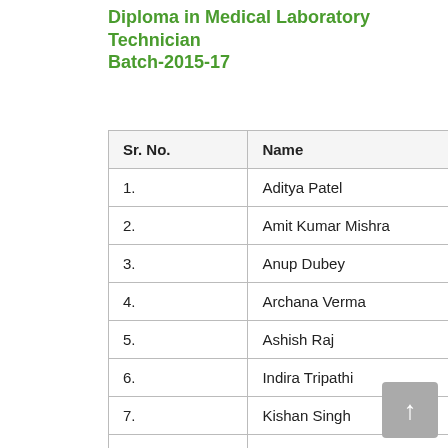Diploma in Medical Laboratory Technician Batch-2015-17
| Sr. No. | Name | District |
| --- | --- | --- |
| 1. | Aditya Patel | Raibareli |
| 2. | Amit Kumar Mishra | Maharajg |
| 3. | Anup Dubey | Mirjapur |
| 4. | Archana Verma | Baraban |
| 5. | Ashish Raj | Sitapur |
| 6. | Indira Tripathi | Ayoddhy |
| 7. | Kishan Singh | Sultanpu |
| 8. | Mohd. Huzaifa Ansari | Sant Kab |
| 9. | Pankaj Srivastava | Sitapur |
| 10. | Pradeep Kumar Pandey | Basti |